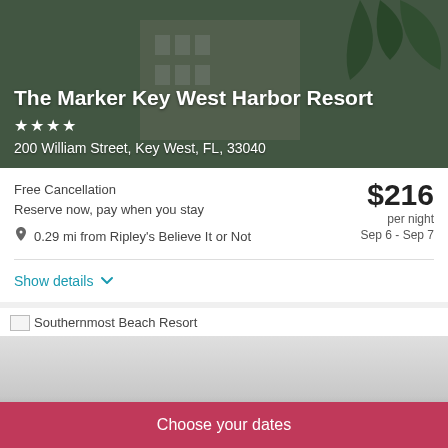[Figure (photo): Hotel exterior photo with tropical palm trees and building facade, dark overlay]
The Marker Key West Harbor Resort
200 William Street, Key West, FL, 33040
Free Cancellation
Reserve now, pay when you stay
0.29 mi from Ripley's Believe It or Not
$216 per night
Sep 6 - Sep 7
Show details
[Figure (photo): Southernmost Beach Resort - broken image placeholder at top, then gradient photo area with hotel name overlay]
Southernmost Beach Resort
Choose your dates